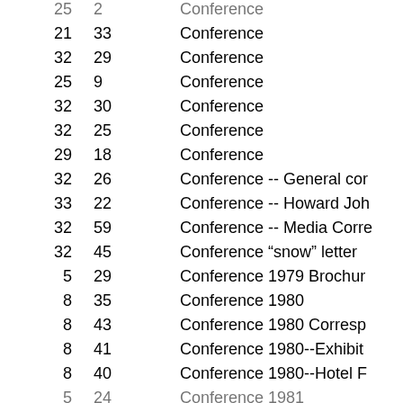| Col1 | Col2 | Description |
| --- | --- | --- |
| 25 | 2 | Conference |
| 21 | 33 | Conference |
| 32 | 29 | Conference |
| 25 | 9 | Conference |
| 32 | 30 | Conference |
| 32 | 25 | Conference |
| 29 | 18 | Conference |
| 32 | 26 | Conference -- General cor |
| 33 | 22 | Conference -- Howard Joh |
| 32 | 59 | Conference -- Media Corre |
| 32 | 45 | Conference “snow” letter |
| 5 | 29 | Conference 1979 Brochur |
| 8 | 35 | Conference 1980 |
| 8 | 43 | Conference 1980 Corresp |
| 8 | 41 | Conference 1980--Exhibit |
| 8 | 40 | Conference 1980--Hotel F |
| 5 | 24 | Conference 1981 |